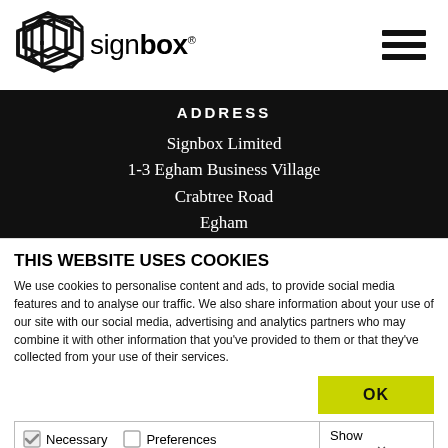[Figure (logo): Signbox logo with geometric box/arrow icon and wordmark 'signbox' with registered trademark symbol, plus hamburger menu icon on the right]
ADDRESS
Signbox Limited
1-3 Egham Business Village
Crabtree Road
Egham
THIS WEBSITE USES COOKIES
We use cookies to personalise content and ads, to provide social media features and to analyse our traffic. We also share information about your use of our site with our social media, advertising and analytics partners who may combine it with other information that you've provided to them or that they've collected from your use of their services.
OK
Necessary  Preferences  Statistics  Marketing  Show details